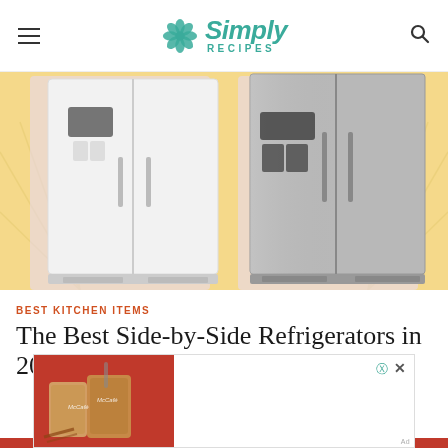Simply Recipes
[Figure (photo): Two side-by-side refrigerators on a yellow background: a white side-by-side refrigerator on the left and a stainless steel side-by-side refrigerator on the right]
BEST KITCHEN ITEMS
The Best Side-by-Side Refrigerators in 2022
[Figure (photo): Advertisement overlay showing McCafe iced coffee drinks on a red background]